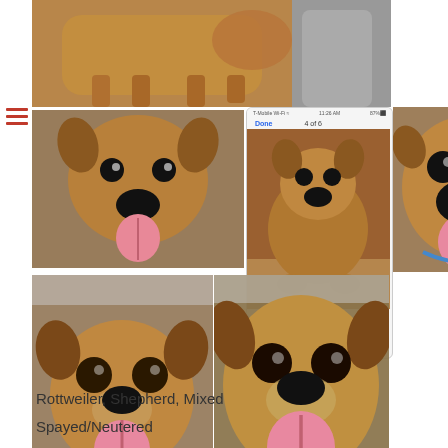[Figure (photo): Collage of 6 photos of a brown/tan dog (Rottweiler-Shepherd mix) in various poses, mostly in a car interior. Also includes a phone screenshot showing one of the dog photos with '4 of 6' indicator. Bottom left shows menu icon (hamburger) in red.]
Rottweiler, Shepherd, Mixed
Spayed/Neutered